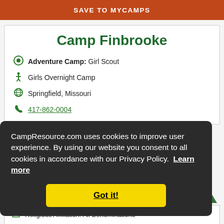SAVE TO MYCAMPS
Camp Finbrooke
Adventure Camp: Girl Scout
Girls Overnight Camp
Springfield, Missouri
417-862-0004
CampResource.com uses cookies to improve user experience. By using our website you consent to all cookies in accordance with our Privacy Policy. Learn more
Got it!
Religious Affiliation: All Denominations